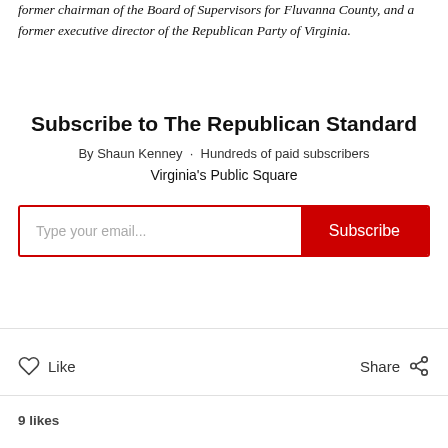former chairman of the Board of Supervisors for Fluvanna County, and a former executive director of the Republican Party of Virginia.
Subscribe to The Republican Standard
By Shaun Kenney · Hundreds of paid subscribers
Virginia's Public Square
[Figure (other): Email subscription input field with placeholder 'Type your email...' and a red Subscribe button]
Like
Share
9 likes